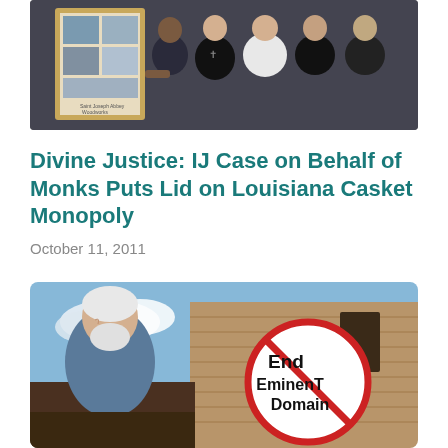[Figure (photo): Group photo of monks and people holding a framed collage of images, likely related to the Saint Joseph Abbey woodworking operation]
Divine Justice: IJ Case on Behalf of Monks Puts Lid on Louisiana Casket Monopoly
October 11, 2011
[Figure (photo): Elderly man with white beard standing in front of a painted sign on a building wall reading 'End Eminent Domain']